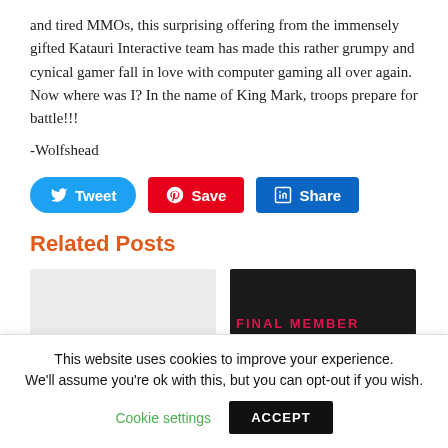and tired MMOs, this surprising offering from the immensely gifted Katauri Interactive team has made this rather grumpy and cynical gamer fall in love with computer gaming all over again. Now where was I? In the name of King Mark, troops prepare for battle!!!
-Wolfshead
[Figure (other): Social sharing buttons: Tweet (blue, rounded), Save (red, Pinterest), Share (blue, LinkedIn)]
Related Posts
[Figure (photo): Two related post thumbnail images side by side: left is light gray placeholder, right is dark background with red text showing partial title.]
This website uses cookies to improve your experience. We'll assume you're ok with this, but you can opt-out if you wish.
Cookie settings
ACCEPT